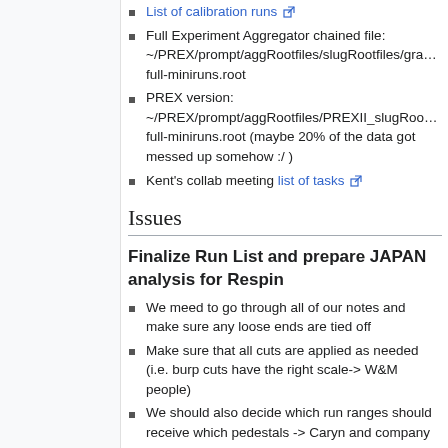List of calibration runs [external link]
Full Experiment Aggregator chained file: ~/PREX/prompt/aggRootfiles/slugRootfiles/gra... full-miniruns.root
PREX version: ~/PREX/prompt/aggRootfiles/PREXII_slugRoo... full-miniruns.root (maybe 20% of the data got messed up somehow :/ )
Kent's collab meeting list of tasks [external link]
Issues
Finalize Run List and prepare JAPAN analysis for Respin
We meed to go through all of our notes and make sure any loose ends are tied off
Make sure that all cuts are applied as needed (i.e. burp cuts have the right scale-> W&M people)
We should also decide which run ranges should receive which pedestals -> Caryn and company
Decide on runranged dithering slopes